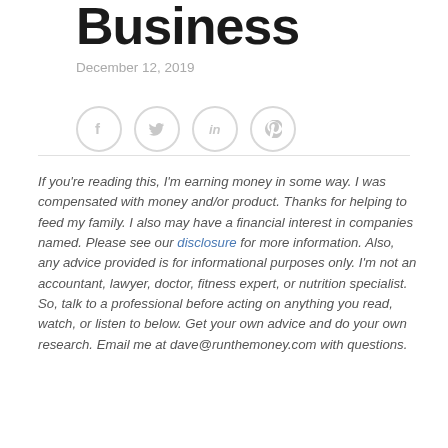Business
December 12, 2019
[Figure (other): Social media share icons: Facebook, Twitter, LinkedIn, Pinterest]
If you're reading this, I'm earning money in some way. I was compensated with money and/or product. Thanks for helping to feed my family. I also may have a financial interest in companies named. Please see our disclosure for more information. Also, any advice provided is for informational purposes only. I'm not an accountant, lawyer, doctor, fitness expert, or nutrition specialist. So, talk to a professional before acting on anything you read, watch, or listen to below. Get your own advice and do your own research. Email me at dave@runthemoney.com with questions.